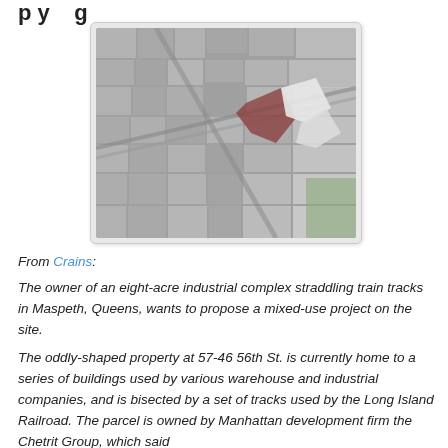p y g
[Figure (photo): Aerial satellite view of an industrial complex in Maspeth, Queens, showing buildings straddling train tracks with highlighted parcels in the center-right area]
From Crains:
The owner of an eight-acre industrial complex straddling train tracks in Maspeth, Queens, wants to propose a mixed-use project on the site.
The oddly-shaped property at 57-46 56th St. is currently home to a series of buildings used by various warehouse and industrial companies, and is bisected by a set of tracks used by the Long Island Railroad. The parcel is owned by Manhattan development firm the Chetrit Group, which said